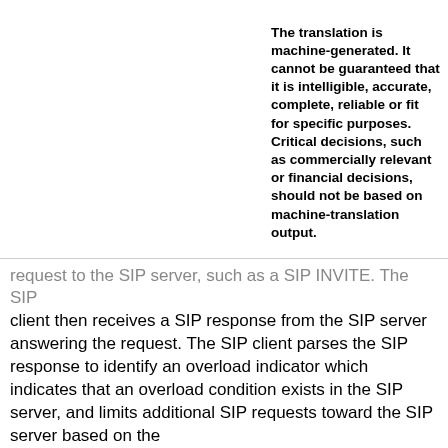The translation is machine-generated. It cannot be guaranteed that it is intelligible, accurate, complete, reliable or fit for specific purposes. Critical decisions, such as commercially relevant or financial decisions, should not be based on machine-translation output.
Translate this text into  [Select language dropdown]
[Figure (logo): Patent Translate badge — red rectangle with arrows icon and 'patenttranslate' text, 'powered by EPO and Google' below]
request to the SIP server, such as a SIP INVITE. The SIP client then receives a SIP response from the SIP server answering the request. The SIP client parses the SIP response to identify an overload indicator which indicates that an overload condition exists in the SIP server, and limits additional SIP requests toward the SIP server based on the